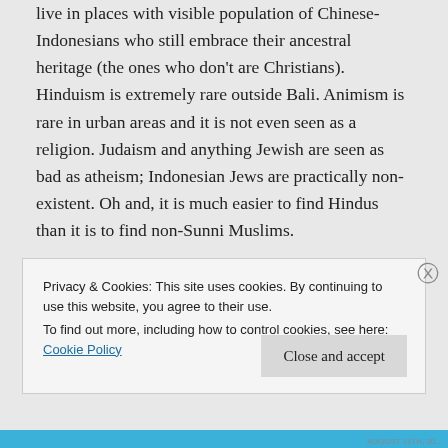live in places with visible population of Chinese-Indonesians who still embrace their ancestral heritage (the ones who don't are Christians). Hinduism is extremely rare outside Bali. Animism is rare in urban areas and it is not even seen as a religion. Judaism and anything Jewish are seen as bad as atheism; Indonesian Jews are practically non-existent. Oh and, it is much easier to find Hindus than it is to find non-Sunni Muslims.
Privacy & Cookies: This site uses cookies. By continuing to use this website, you agree to their use.
To find out more, including how to control cookies, see here:
Cookie Policy
Close and accept